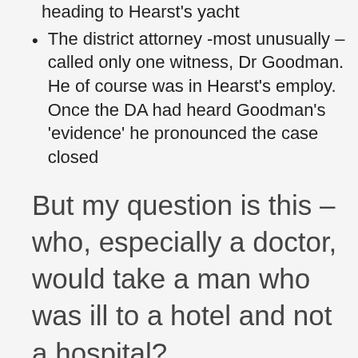He said that the three were heading to Hearst's yacht
The district attorney -most unusually – called only one witness, Dr Goodman. He of course was in Hearst's employ.  Once the DA had heard Goodman's 'evidence' he pronounced the case closed
But my question is this – who, especially a doctor, would take a man who was ill to a hotel and not a hospital?